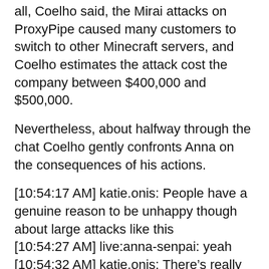all, Coelho said, the Mirai attacks on ProxyPipe caused many customers to switch to other Minecraft servers, and Coelho estimates the attack cost the company between $400,000 and $500,000.
Nevertheless, about halfway through the chat Coelho gently confronts Anna on the consequences of his actions.
[10:54:17 AM] katie.onis: People have a genuine reason to be unhappy though about large attacks like this
[10:54:27 AM] live:anna-senpai: yeah
[10:54:32 AM] katie.onis: There’s really nothing anyone can do lol
[10:54:36 AM] live:anna-senpai: 🙂
[10:54:38 AM] katie.onis: And it does affect their lives
[10:55:10 AM] live:anna-senpai: well, i stopped